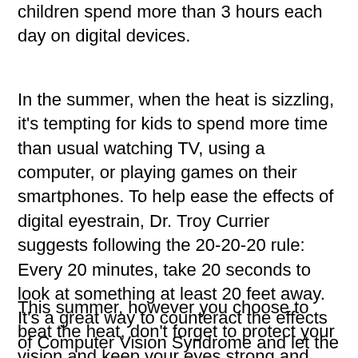children spend more than 3 hours each day on digital devices.
In the summer, when the heat is sizzling, it's tempting for kids to spend more time than usual watching TV, using a computer, or playing games on their smartphones. To help ease the effects of digital eyestrain, Dr. Troy Currier suggests following the 20-20-20 rule: Every 20 minutes, take 20 seconds to look at something at least 20 feet away. It's a great way to counteract the effects of Computer Vision Syndrome and let the eyes rest.
This summer, however you choose to beat the heat, don't forget to protect your vision and keep your eyes strong and healthy. The iSight of Ida Grove is always here to help if you have any questions.